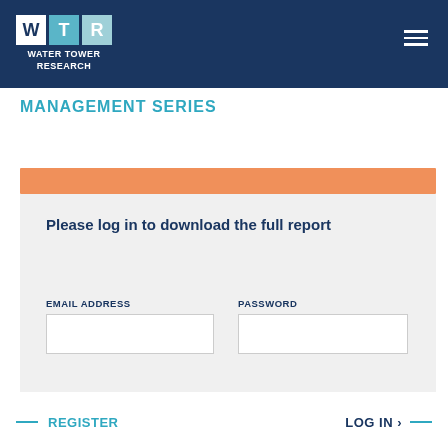WATER TOWER RESEARCH
MANAGEMENT SERIES
Please log in to download the full report
EMAIL ADDRESS
PASSWORD
REGISTER
LOG IN